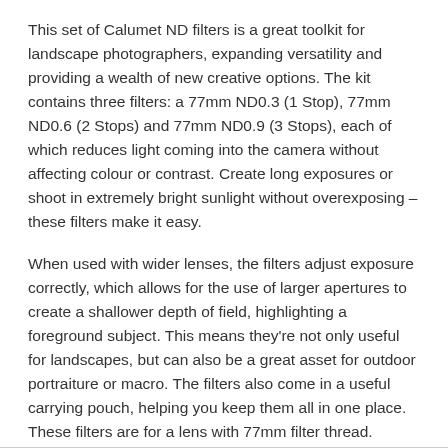This set of Calumet ND filters is a great toolkit for landscape photographers, expanding versatility and providing a wealth of new creative options. The kit contains three filters: a 77mm ND0.3 (1 Stop), 77mm ND0.6 (2 Stops) and 77mm ND0.9 (3 Stops), each of which reduces light coming into the camera without affecting colour or contrast. Create long exposures or shoot in extremely bright sunlight without overexposing – these filters make it easy.
When used with wider lenses, the filters adjust exposure correctly, which allows for the use of larger apertures to create a shallower depth of field, highlighting a foreground subject. This means they're not only useful for landscapes, but can also be a great asset for outdoor portraiture or macro. The filters also come in a useful carrying pouch, helping you keep them all in one place. These filters are for a lens with 77mm filter thread.